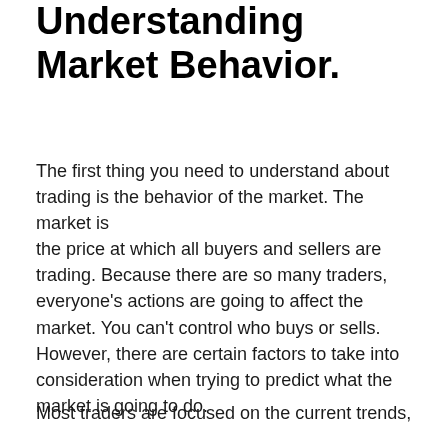Understanding Market Behavior.
The first thing you need to understand about trading is the behavior of the market. The market is the price at which all buyers and sellers are trading. Because there are so many traders, everyone's actions are going to affect the market. You can't control who buys or sells. However, there are certain factors to take into consideration when trying to predict what the market is going to do.
Most traders are focused on the current trends, but you need to also look at the historical price...